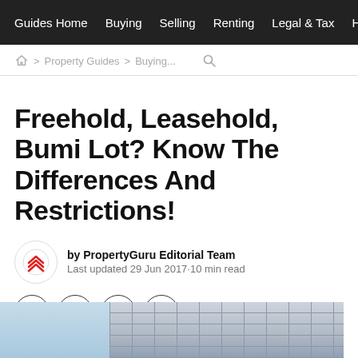Guides Home   Buying   Selling   Renting   Legal & Tax   Home Fi...
🏠 > Property Guides > Buying...  🔍
Freehold, Leasehold, Bumi Lot? Know The Differences And Restrictions!
by PropertyGuru Editorial Team
Last updated 29 Jun 2017·10 min read
[Figure (infographic): Social sharing buttons: Facebook, WhatsApp, Twitter, Link]
[Figure (photo): Hero image showing apartment buildings — left portion shows blue sky and building top, right portion shows a mid-rise residential apartment facade]